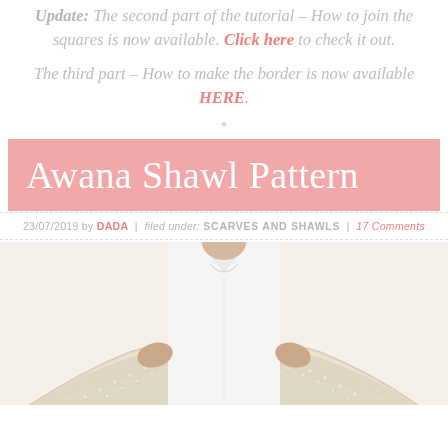Update: The second part of the tutorial – How to join the squares is now available. Click here to check it out.
The third part – How to make the border is now available HERE.
Awana Shawl Pattern
23/07/2019 by DADA | filed under: SCARVES AND SHAWLS | 17 Comments
[Figure (photo): Person holding up a large cream-colored lace crochet shawl spread wide, wearing a white shirt, photo cropped at neck level]